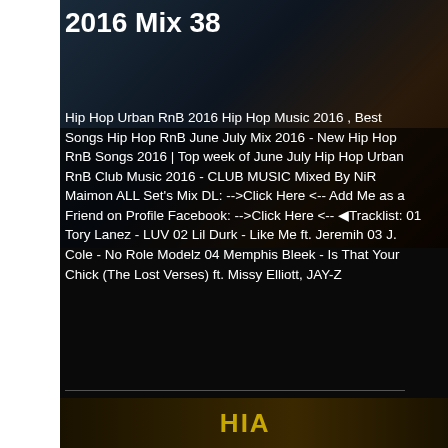2016 Mix 38
Hip Hop Urban RnB 2016 Hip Hop Music 2016 , Best Songs Hip Hop RnB June July Mix 2016 - New Hip Hop RnB Songs 2016 | Top week of June July Hip Hop Urban RnB Club Music 2016 - CLUB MUSIC Mixed By NiR Maimon ALL Set's Mix DL: -->Click Here <-- Add Me as a Friend on Profile Facebook: -->Click Here <-- ◀Tracklist: 01 Tory Lanez - LUV 02 Lil Durk - Like Me ft. Jeremih 03 J. Cole - No Role Modelz 04 Memphis Bleek - Is That Your Chick (The Lost Verses) ft. Missy Elliott, JAY-Z
[Figure (photo): Bottom thumbnail image with gold/yellow text letters on dark background, partially visible]